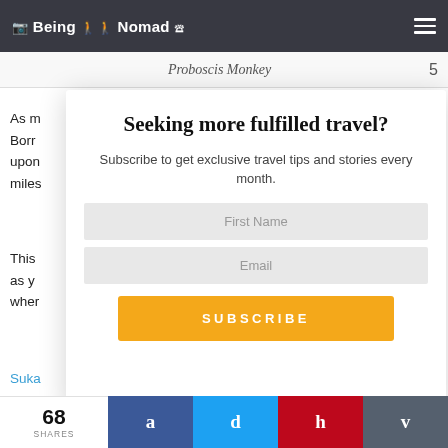Being A Nomad
Proboscis Monkey  5
As n
Born
upon
miles
This
as y
wher
Suka
Seeking more fulfilled travel?
Subscribe to get exclusive travel tips and stories every month.
First Name
Email
SUBSCRIBE
68 SHARES
a
d
h
v